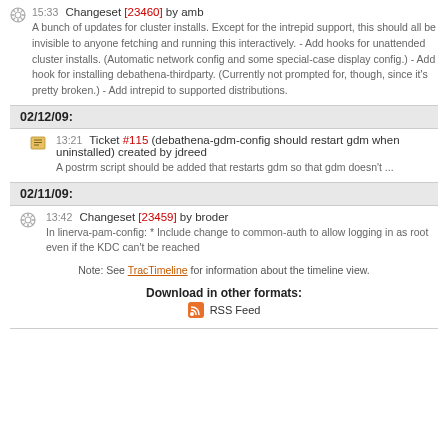15:33 Changeset [23460] by amb - A bunch of updates for cluster installs. Except for the intrepid support, this should all be invisible to anyone fetching and running this interactively. - Add hooks for unattended cluster installs. (Automatic network config and some special-case display config.) - Add hook for installing debathena-thirdparty. (Currently not prompted for, though, since it's pretty broken.) - Add intrepid to supported distributions.
02/12/09:
13:21 Ticket #115 (debathena-gdm-config should restart gdm when uninstalled) created by jdreed - A postrm script should be added that restarts gdm so that gdm doesn't ...
02/11/09:
13:42 Changeset [23459] by broder - In linerva-pam-config: * Include change to common-auth to allow logging in as root even if the KDC can't be reached
Note: See TracTimeline for information about the timeline view.
Download in other formats:
RSS Feed